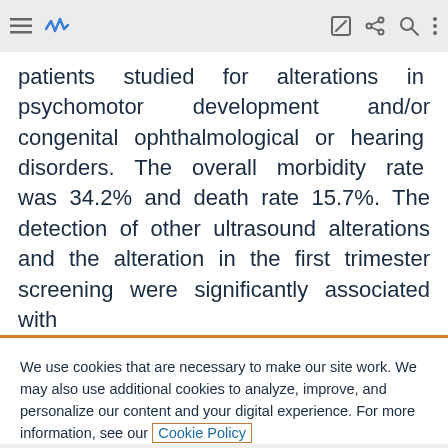[Browser toolbar with menu, activity, edit, share, search, more icons]
patients studied for alterations in psychomotor development and/or congenital ophthalmological or hearing disorders. The overall morbidity rate was 34.2% and death rate 15.7%. The detection of other ultrasound alterations and the alteration in the first trimester screening were significantly associated with
We use cookies that are necessary to make our site work. We may also use additional cookies to analyze, improve, and personalize our content and your digital experience. For more information, see our Cookie Policy
Cookie settings
Accept all cookies